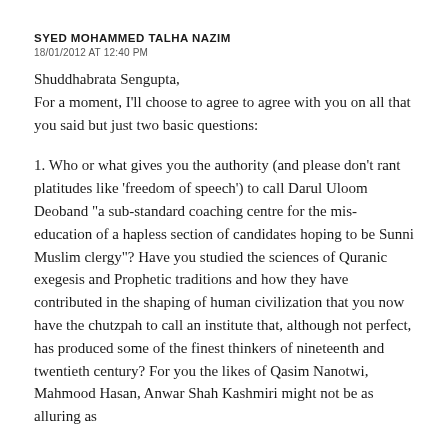SYED MOHAMMED TALHA NAZIM
18/01/2012 AT 12:40 PM
Shuddhabrata Sengupta,
For a moment, I’ll choose to agree to agree with you on all that you said but just two basic questions:
1. Who or what gives you the authority (and please don’t rant platitudes like ‘freedom of speech’) to call Darul Uloom Deoband “a sub-standard coaching centre for the mis-education of a hapless section of candidates hoping to be Sunni Muslim clergy”? Have you studied the sciences of Quranic exegesis and Prophetic traditions and how they have contributed in the shaping of human civilization that you now have the chutzpah to call an institute that, although not perfect, has produced some of the finest thinkers of nineteenth and twentieth century? For you the likes of Qasim Nanotwi, Mahmood Hasan, Anwar Shah Kashmiri might not be as alluring as